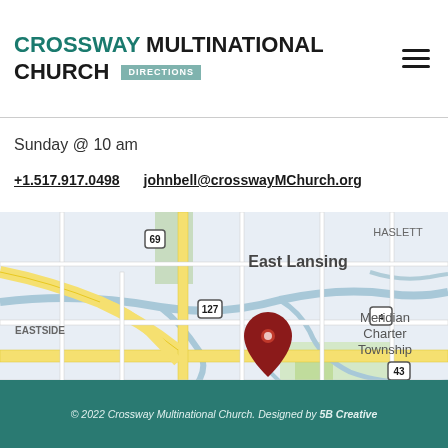CROSSWAY MULTINATIONAL CHURCH DIRECTIONS
Sunday @ 10 am
+1.517.917.0498   johnbell@crosswayMChurch.org
[Figure (map): Google Maps screenshot showing East Lansing, Michigan area with a red location pin near the intersection of major roads, showing East Lansing, EASTSIDE, Meridian Charter Township, HASLETT, route markers 69, 127, 43, 496. Google copyright 2022, Keyboard shortcuts, Map data ©2022, Terms of Use labels visible.]
© 2022 Crossway Multinational Church. Designed by 5B Creative